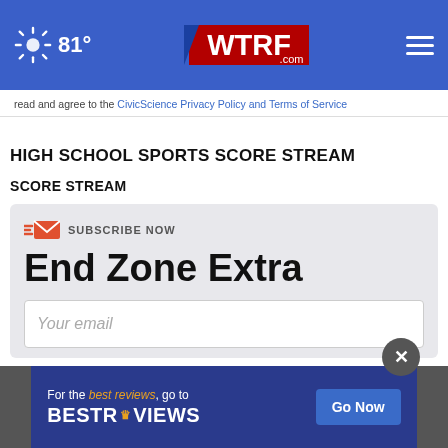81° WTRF.com
read and agree to the CivicScience Privacy Policy and Terms of Service
HIGH SCHOOL SPORTS SCORE STREAM
SCORE STREAM
SUBSCRIBE NOW
End Zone Extra
Your email
[Figure (screenshot): BestReviews advertisement banner: 'For the best reviews, go to BESTREVIEWS' with a 'Go Now' button]